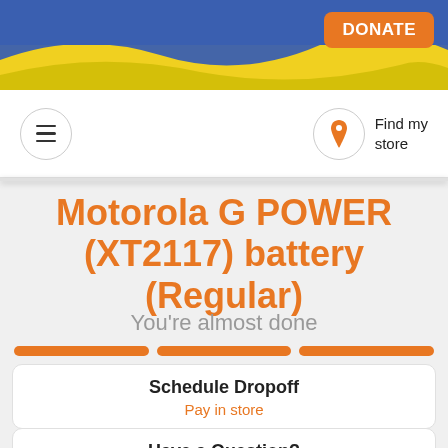[Figure (screenshot): Banner with Ukrainian flag colors (blue and yellow) background]
DONATE
[Figure (other): Navigation bar with hamburger menu on left and Find my store with location pin on right]
Motorola G POWER (XT2117) battery (Regular)
You're almost done
[Figure (other): Three-segment orange progress bar]
Schedule Dropoff
Pay in store
Have a Question?